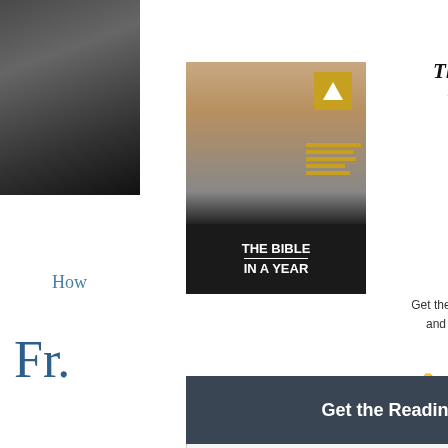[Figure (photo): Cropped portrait photo of a priest in black clerical clothing, top-left corner]
[Figure (photo): Book cover for 'The Bible in a Year with Fr. Mike Schmitz' showing Fr. Mike smiling in clerical dress with text overlay]
The Bible in a Year with Fr. Mike Schmitz
Get the reading plan emailed to and read the Bible with us
👇 Subscribe below 👇
How
Fr.
Enter your email address
First Name
Last Name
Get the Reading Plan